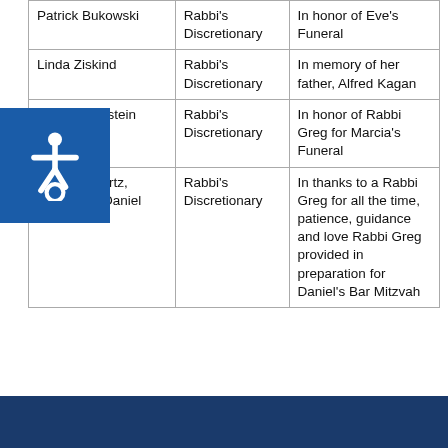| Patrick Bukowski | Rabbi's Discretionary | In honor of Eve's Funeral |
| Linda Ziskind | Rabbi's Discretionary | In memory of her father, Alfred Kagan |
| Stan Rosenstein | Rabbi's Discretionary | In honor of Rabbi Greg for Marcia's Funeral |
| Julie Schwartz, Darryl and Daniel MacArthur | Rabbi's Discretionary | In thanks to a Rabbi Greg for all the time, patience, guidance and love Rabbi Greg provided in preparation for Daniel's Bar Mitzvah |